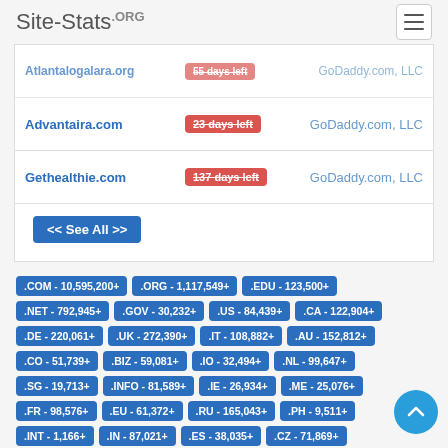Site-Stats.ORG
| Domain | Days Left | Registrar |
| --- | --- | --- |
| Atlantalogalara.org | 55 days left | GoDaddy.com, LLC |
| Advantaira.com | 23 days left | GoDaddy.com, LLC |
| Gethealthie.com | 137 days left | GoDaddy.com, LLC |
<< See All >>
.COM - 10,595,200+
.ORG - 1,117,549+
.EDU - 123,500+
.NET - 792,945+
.GOV - 30,232+
.US - 84,439+
.CA - 122,904+
.DE - 220,061+
.UK - 272,390+
.IT - 108,882+
.AU - 152,812+
.CO - 51,739+
.BIZ - 59,081+
.IO - 32,494+
.NL - 99,647+
.SG - 19,713+
.INFO - 81,589+
.IE - 26,934+
.ME - 25,076+
.FR - 98,576+
.EU - 61,372+
.RU - 165,043+
.PH - 9,511+
.INT - 1,166+
.IN - 87,021+
.ES - 38,035+
.CZ - 71,869+
.VN - 48,920+
.TV - 14,250+
.SITE - 9,829+
.RO - 37,484+
.PL - 44,520+
.PK - 10,373+
.MOBI - 4,464+
.LK - 5,507+
.CN - 66,137+
.CH - 66,914+
.AT - 31,992+
Email Address Search | IP Address Blacklist Check | Hosting Providers | Domain Providers | Website Error Checker